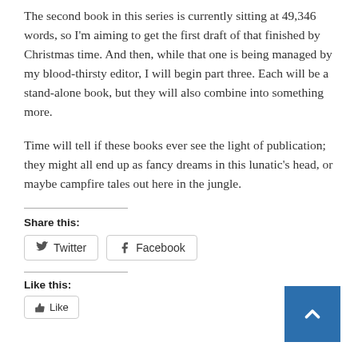The second book in this series is currently sitting at 49,346 words, so I'm aiming to get the first draft of that finished by Christmas time. And then, while that one is being managed by my blood-thirsty editor, I will begin part three. Each will be a stand-alone book, but they will also combine into something more.
Time will tell if these books ever see the light of publication; they might all end up as fancy dreams in this lunatic's head, or maybe campfire tales out here in the jungle.
Share this:
Twitter  Facebook
Like this: